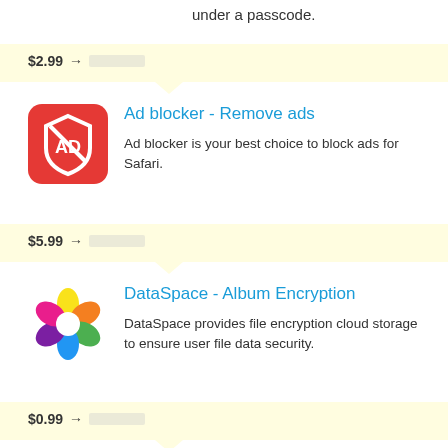under a passcode.
$2.99 → [redacted]
Ad blocker - Remove ads
Ad blocker is your best choice to block ads for Safari.
$5.99 → [redacted]
DataSpace - Album Encryption
DataSpace provides file encryption cloud storage to ensure user file data security.
$0.99 → [redacted]